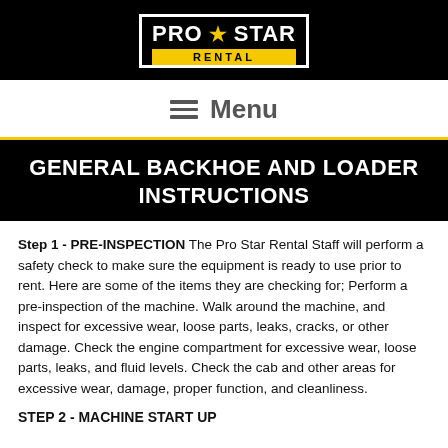[Figure (logo): Pro Star Rental logo: black background, white outlined box, PRO STAR text in white with yellow star, RENTAL on yellow banner below]
Menu
GENERAL BACKHOE AND LOADER INSTRUCTIONS
Step 1 - PRE-INSPECTION The Pro Star Rental Staff will perform a safety check to make sure the equipment is ready to use prior to rent. Here are some of the items they are checking for; Perform a pre-inspection of the machine. Walk around the machine, and inspect for excessive wear, loose parts, leaks, cracks, or other damage. Check the engine compartment for excessive wear, loose parts, leaks, and fluid levels. Check the cab and other areas for excessive wear, damage, proper function, and cleanliness.
Step 2 - MACHINE START UP